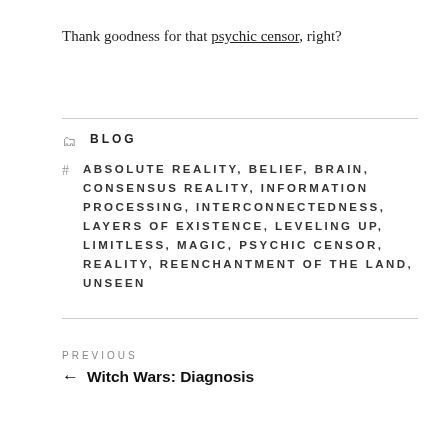Thank goodness for that psychic censor, right?
BLOG
ABSOLUTE REALITY, BELIEF, BRAIN, CONSENSUS REALITY, INFORMATION PROCESSING, INTERCONNECTEDNESS, LAYERS OF EXISTENCE, LEVELING UP, LIMITLESS, MAGIC, PSYCHIC CENSOR, REALITY, REENCHANTMENT OF THE LAND, UNSEEN
PREVIOUS
← Witch Wars: Diagnosis